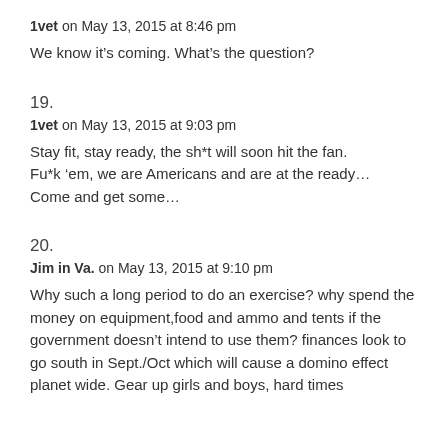1vet on May 13, 2015 at 8:46 pm
We know it’s coming. What’s the question?
19.
1vet on May 13, 2015 at 9:03 pm
Stay fit, stay ready, the sh*t will soon hit the fan. Fu*k ‘em, we are Americans and are at the ready… Come and get some…
20.
Jim in Va. on May 13, 2015 at 9:10 pm
Why such a long period to do an exercise? why spend the money on equipment,food and ammo and tents if the government doesn’t intend to use them? finances look to go south in Sept./Oct which will cause a domino effect planet wide. Gear up girls and boys, hard times